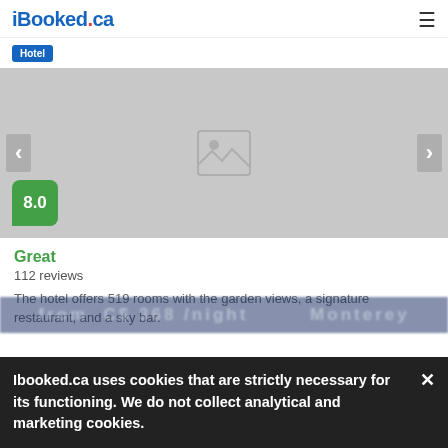iBooked.ca
Hotel
[Figure (photo): Hotel image slideshow placeholder with left and right navigation arrows and a 8.0 rating badge]
Great
112 reviews
The hotel offers 519 rooms with the garden views, a signature restaurant, and a sky bar.
Ibooked.ca uses cookies that are strictly necessary for its functioning. We do not collect analytical and marketing cookies.